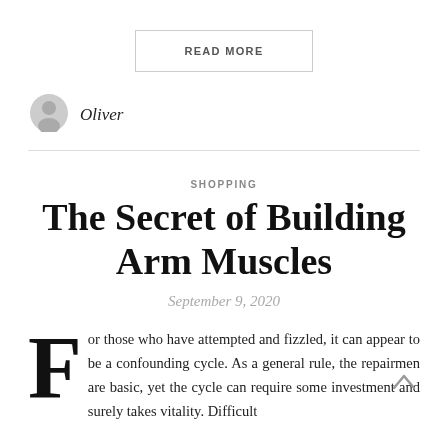READ MORE
[Figure (illustration): Author avatar icon — grey person silhouette]
Oliver
SHOPPING
The Secret of Building Arm Muscles
September 9, 2020
For those who have attempted and fizzled, it can appear to be a confounding cycle. As a general rule, the repairmen are basic, yet the cycle can require some investment and surely takes vitality. Difficult